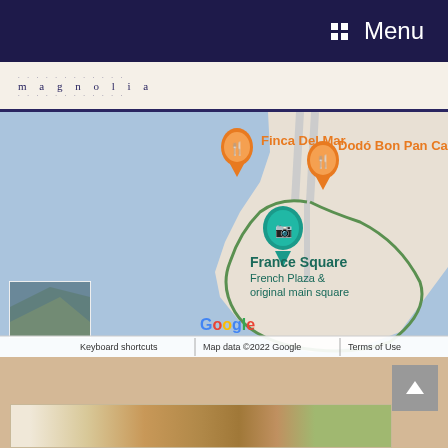Menu
[Figure (logo): Restaurant logo with decorative text and dots]
[Figure (map): Google Maps showing France Square (French Plaza & original main square), Finca Del Mar restaurant, and Dodó Bon Pan Café on a coastal peninsula. Map data ©2022 Google. Includes keyboard shortcuts and Terms of Use footer.]
[Figure (photo): Aerial/satellite thumbnail in bottom-left of map showing coastline. Pizza photo partially visible at bottom of page.]